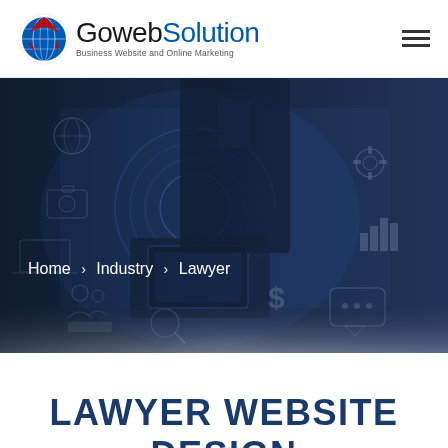[Figure (logo): GowebSolution logo with globe icon and tagline 'Business Website and Online Marketing']
[Figure (photo): Dark blue-toned hero image of a businessman in suit holding a tablet with digital holographic interface icons overlay]
Home > Industry > Lawyer
LAWYER WEBSITE DESIGN